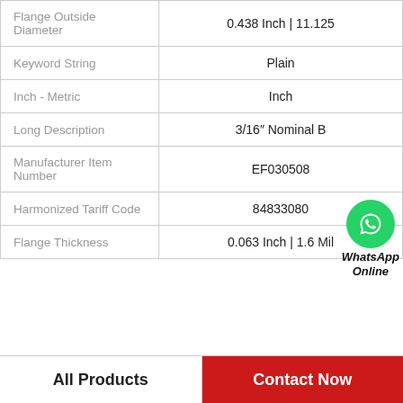| Property | Value |
| --- | --- |
| Flange Outside Diameter | 0.438 Inch | 11.125 |
| Keyword String | Plain |
| Inch - Metric | Inch |
| Long Description | 3/16" Nominal B |
| Manufacturer Item Number | EF030508 |
| Harmonized Tariff Code | 84833080 |
| Flange Thickness | 0.063 Inch | 1.6 Mil |
All Products    Contact Now